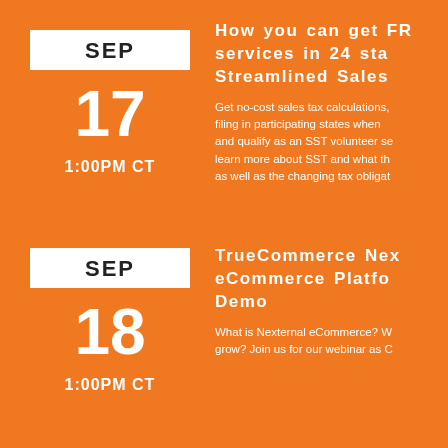[Figure (other): Calendar card showing SEP 17, 1:00PM CT on orange background]
How you can get FREE services in 24 sta... Streamlined Sales ...
Get no-cost sales tax calculations, ... filing in participating states when ... and qualify as an SST volunteer se... learn more about SST and what th... as well as the changing tax obligat...
[Figure (other): Calendar card showing SEP 18, 1:00PM CT on orange background]
TrueCommerce Nex... eCommerce Platfo... Demo
What is Nexternal eCommerce? W... grow? Join us for our webinar as C...